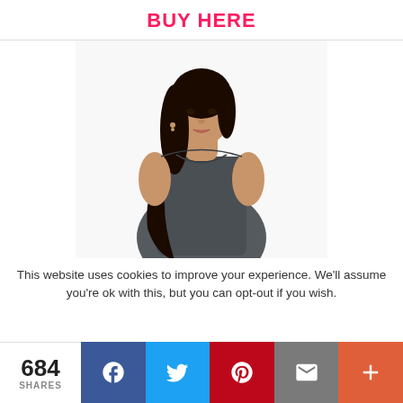BUY HERE
[Figure (photo): Female model wearing a dark gray sleeveless racer-back tank top, with long dark hair, against a white background.]
This website uses cookies to improve your experience. We'll assume you're ok with this, but you can opt-out if you wish.
684 SHARES